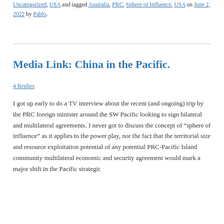Uncategorized, USA and tagged Australia, PRC, Sphere of Influence, USA on June 2, 2022 by Pablo.
Media Link: China in the Pacific.
4 Replies
I got up early to do a TV interview about the recent (and ongoing) trip by the PRC foreign minister around the SW Pacific looking to sign bilateral and multilateral agreements. I never got to discuss the concept of “sphere of influence” as it applies to the power play, nor the fact that the territorial size and resource exploitation potential of any potential PRC-Pacific Island community multilateral economic and security agreement would mark a major shift in the Pacific strategic